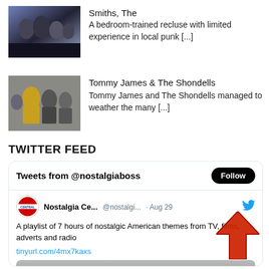[Figure (photo): Band photo of The Smiths, several young men posed together in a stylized shot]
Smiths, The
A bedroom-trained recluse with limited experience in local punk [...]
[Figure (photo): Band photo of Tommy James & The Shondells, group of young men, one wearing a yellow jacket]
Tommy James & The Shondells
Tommy James and The Shondells managed to weather the many [...]
TWITTER FEED
[Figure (screenshot): Twitter widget showing Tweets from @nostalgiaboss with a Follow button, and a tweet from Nostalgia Ce... @nostalgi... Aug 29 saying: A playlist of 7 hours of nostalgic American themes from TV, films, adverts and radio tinyurl.com/4mx7kaxs, with a red upward arrow overlay and image preview at bottom]